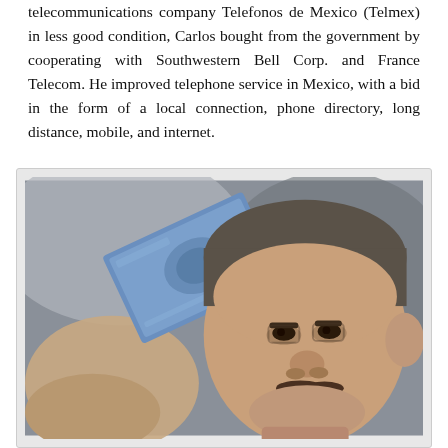telecommunications company Telefonos de Mexico (Telmex) in less good condition, Carlos bought from the government by cooperating with Southwestern Bell Corp. and France Telecom. He improved telephone service in Mexico, with a bid in the form of a local connection, phone directory, long distance, mobile, and internet.
[Figure (photo): A middle-aged man with gray hair and a mustache holding up a blue banknote or card toward the camera.]